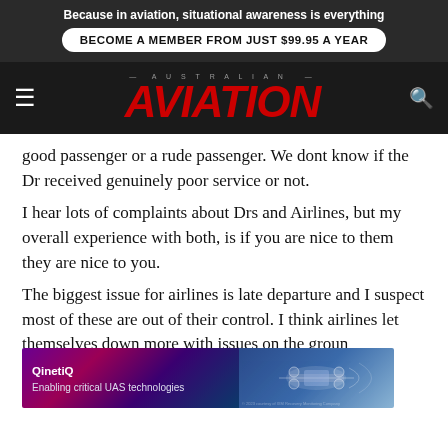Because in aviation, situational awareness is everything
BECOME A MEMBER FROM JUST $99.95 A YEAR
AUSTRALIAN AVIATION
good passenger or a rude passenger. We dont know if the Dr received genuinely poor service or not.
I hear lots of complaints about Drs and Airlines, but my overall experience with both, is if you are nice to them they are nice to you.
The biggest issue for airlines is late departure and I suspect most of these are out of their control. I think airlines let themselves down more with issues on the ground
[Figure (other): QinetiQ advertisement banner — 'Enabling critical UAS technologies' with purple/dark background and drone imagery]
properly informed on delays, cancellations etc and